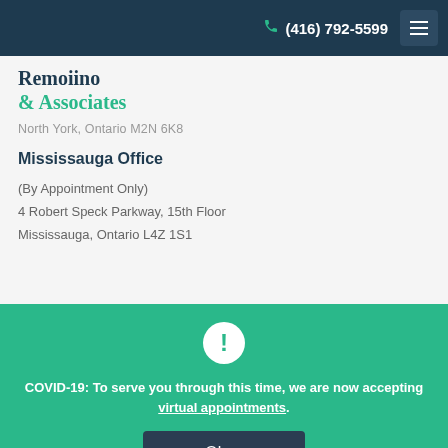(416) 792-5599
[Figure (logo): Remoiino & Associates law firm logo]
North York, Ontario M2N 6K8
Mississauga Office
(By Appointment Only)
4 Robert Speck Parkway, 15th Floor
Mississauga, Ontario L4Z 1S1
COVID-19: To serve you through this time, we are now accepting virtual appointments.
Okay